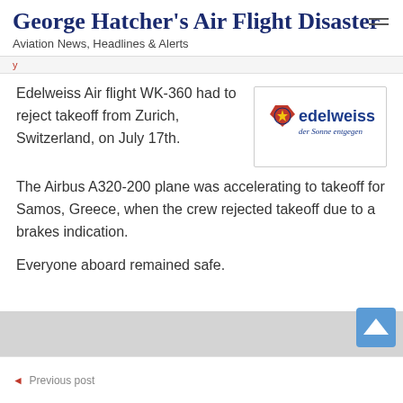George Hatcher's Air Flight Disaster
Aviation News, Headlines & Alerts
Edelweiss Air flight WK-360 had to reject takeoff from Zurich, Switzerland, on July 17th.
[Figure (logo): Edelweiss Air logo with red diamond shape and star, text 'edelweiss' in blue, tagline 'der Sonne entgegen' in italic]
The Airbus A320-200 plane was accelerating to takeoff for Samos, Greece, when the crew rejected takeoff due to a brakes indication.
Everyone aboard remained safe.